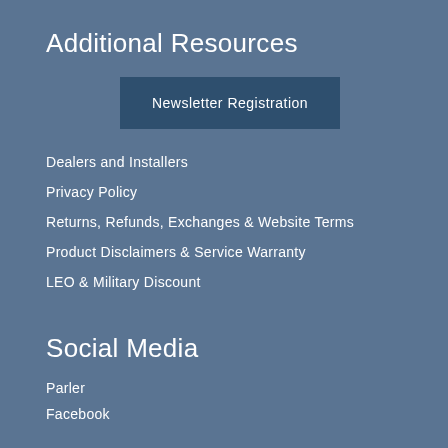Additional Resources
Newsletter Registration
Dealers and Installers
Privacy Policy
Returns, Refunds, Exchanges & Website Terms
Product Disclaimers & Service Warranty
LEO & Military Discount
Social Media
Parler
Facebook